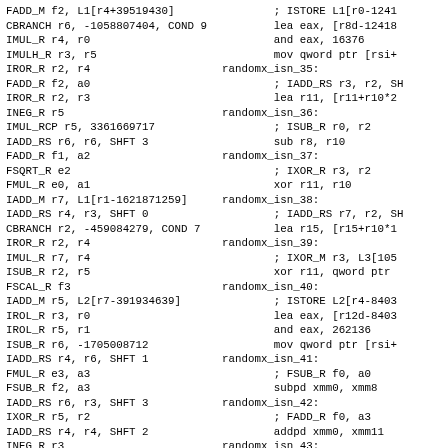Left column: assembly/pseudocode listing
FADD_M f2, L1[r4+39519430]
CBRANCH r6, -1058807404, COND 9
IMUL_R r4, r0
IMULH_R r3, r5
IROR_R r2, r4
FADD_R f2, a0
IROR_R r2, r3
INEG_R r5
IMUL_RCP r5, 3361669717
IADD_RS r6, r6, SHFT 3
FADD_R f1, a2
FSQRT_R e2
FMUL_R e0, a1
IADD_M r7, L1[r1-1621871259]
IADD_RS r4, r3, SHFT 0
CBRANCH r2, -459084279, COND 7
IROR_R r2, r4
IMUL_R r7, r4
ISUB_R r2, r5
FSCAL_R f3
IADD_M r5, L2[r7-391934639]
IROL_R r3, r0
IROL_R r5, r1
ISUB_R r6, -1705008712
IADD_RS r4, r6, SHFT 1
FMUL_R e3, a3
FSUB_R f2, a3
IADD_RS r6, r3, SHFT 3
IXOR_R r5, r2
IADD_RS r4, r4, SHFT 2
INEG_R r3
IADD_RS r1, r4, SHFT 3
Right column: x86 assembly output with randomx_isn labels
; ISTORE L1[r0-1241...
lea eax, [r8d-12418...
and eax, 16376
mov qword ptr [rsi+
randomx_isn_35:
; IADD_RS r3, r2, SH...
lea r11, [r11+r10*2
randomx_isn_36:
; ISUB_R r0, r2
sub r8, r10
randomx_isn_37:
; IXOR_R r3, r2
xor r11, r10
randomx_isn_38:
; IADD_RS r7, r2, SH...
lea r15, [r15+r10*1
randomx_isn_39:
; IXOR_M r3, L3[105...
xor r11, qword ptr
randomx_isn_40:
; ISTORE L2[r4-8403...
lea eax, [r12d-8403...
and eax, 262136
mov qword ptr [rsi+
randomx_isn_41:
; FSUB_R f0, a0
subpd xmm0, xmm8
randomx_isn_42:
; FADD_R f0, a3
addpd xmm0, xmm11
randomx_isn_43:
; CBRANCH r6, -1583...